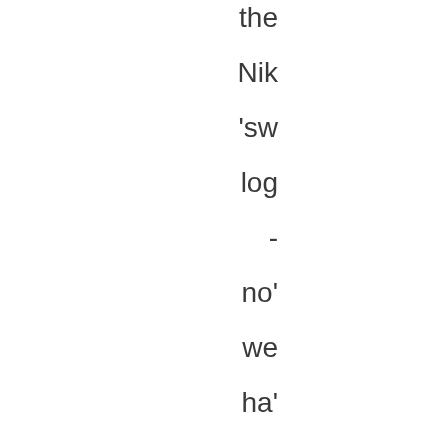the
Nik
'sw
log
-
no'
we
ha'
co-
cre
sor
tog
On
the
is
it
'Er
Ma